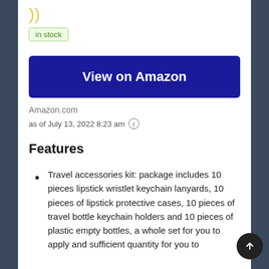[Figure (logo): Yellow crescent moon symbol]
in stock
View on Amazon
Amazon.com
as of July 13, 2022 8:23 am ℹ
Features
Travel accessories kit: package includes 10 pieces lipstick wristlet keychain lanyards, 10 pieces of lipstick protective cases, 10 pieces of travel bottle keychain holders and 10 pieces of plastic empty bottles, a whole set for you to apply and sufficient quantity for you to